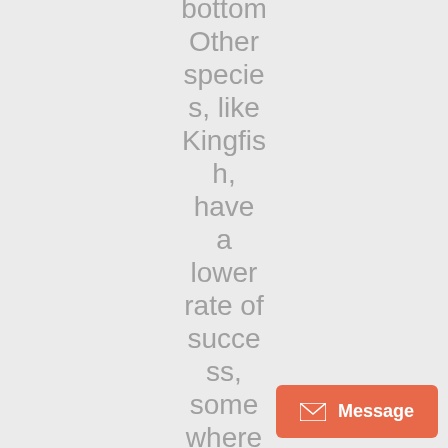bottom Other species, like Kingfish, have a lower rate of success, somewhere around 50%. It's usually the smaller fish that escap